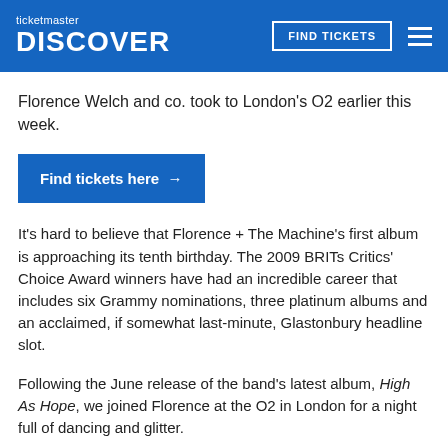ticketmaster DISCOVER
Florence Welch and co. took to London's O2 earlier this week.
Find tickets here →
It's hard to believe that Florence + The Machine's first album is approaching its tenth birthday. The 2009 BRITs Critics' Choice Award winners have had an incredible career that includes six Grammy nominations, three platinum albums and an acclaimed, if somewhat last-minute, Glastonbury headline slot.
Following the June release of the band's latest album, High As Hope, we joined Florence at the O2 in London for a night full of dancing and glitter.